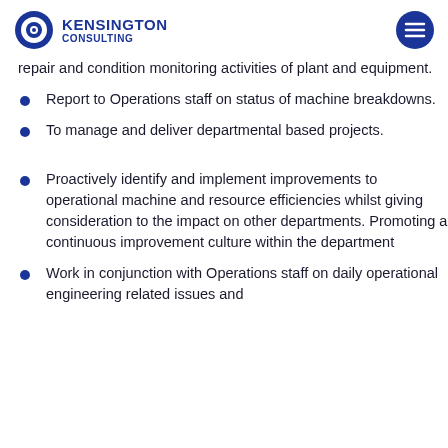KENSINGTON CONSULTING
repair and condition monitoring activities of plant and equipment.
Report to Operations staff on status of machine breakdowns.
To manage and deliver departmental based projects.
Proactively identify and implement improvements to operational machine and resource efficiencies whilst giving consideration to the impact on other departments. Promoting a continuous improvement culture within the department
Work in conjunction with Operations staff on daily operational engineering related issues and …